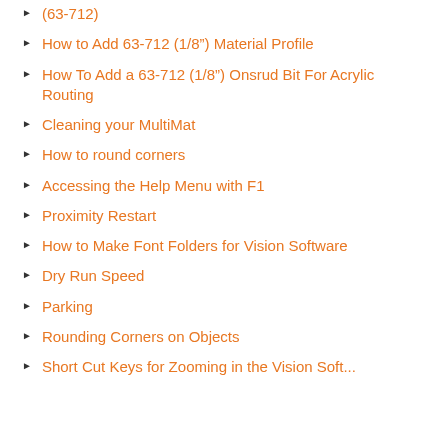(63-712)
How to Add 63-712 (1/8") Material Profile
How To Add a 63-712 (1/8") Onsrud Bit For Acrylic Routing
Cleaning your MultiMat
How to round corners
Accessing the Help Menu with F1
Proximity Restart
How to Make Font Folders for Vision Software
Dry Run Speed
Parking
Rounding Corners on Objects
Short Cut Keys for Zooming in the Vision Software